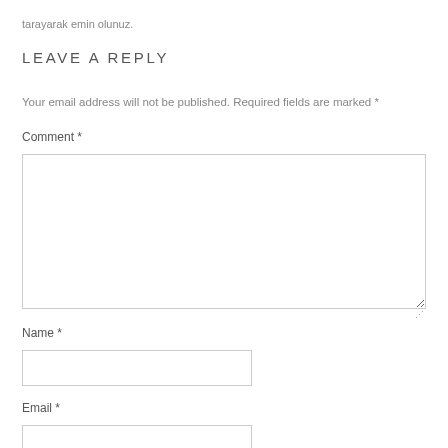tarayarak emin olunuz.
LEAVE A REPLY
Your email address will not be published. Required fields are marked *
Comment *
Name *
Email *